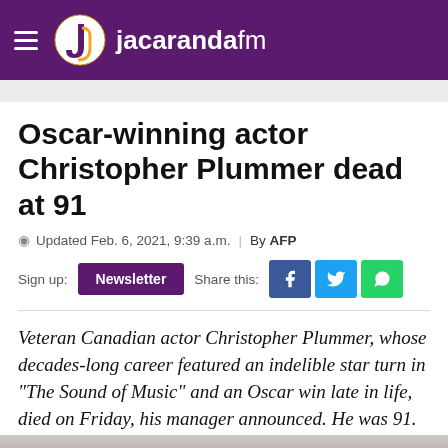jacarandafm
Oscar-winning actor Christopher Plummer dead at 91
Updated Feb. 6, 2021, 9:39 a.m. | By AFP
Sign up: Newsletter   Share this:
Veteran Canadian actor Christopher Plummer, whose decades-long career featured an indelible star turn in "The Sound of Music" and an Oscar win late in life, died on Friday, his manager announced. He was 91.
[Figure (photo): Bottom portion of article photo of Christopher Plummer, partially visible at bottom of page]